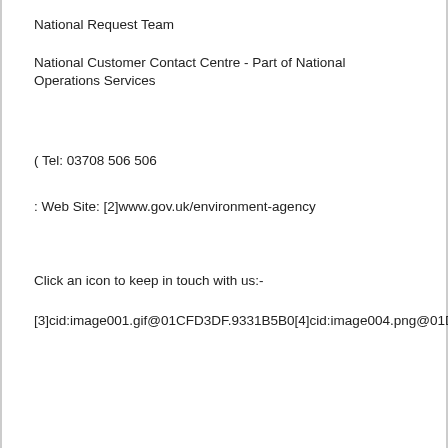National Request Team
National Customer Contact Centre - Part of National Operations Services
( Tel: 03708 506 506
: Web Site: [2]www.gov.uk/environment-agency
Click an icon to keep in touch with us:-
[3]cid:image001.gif@01CFD3DF.9331B5B0[4]cid:image004.png@01D1E0E7.3E471C90[5]cid:image003.gif@01CFD3DF.9331B5B0[6]cid:image004.gif@01CFD3DF.9331B5B0[7]cid:image005.gif@01CFD3DF.9331B5B0